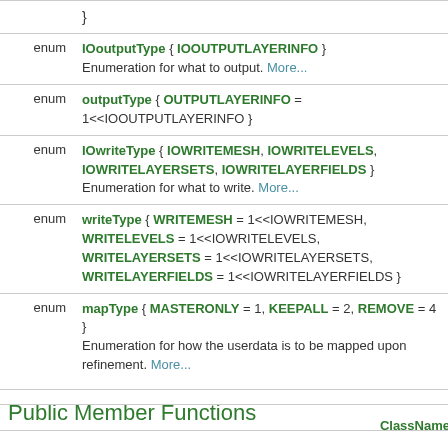| type | definition |
| --- | --- |
|  | } |
| enum | IOoutputType { IOOUTPUTLAYERINFO }  Enumeration for what to output. More... |
| enum | outputType { OUTPUTLAYERINFO = 1<<IOOUTPUTLAYERINFO } |
| enum | IOwriteType { IOWRITEMESH, IOWRITELEVELS, IOWRITELAYERSETS, IOWRITELAYERFIELDS }  Enumeration for what to write. More... |
| enum | writeType { WRITEMESH = 1<<IOWRITEMESH, WRITELEVELS = 1<<IOWRITELEVELS, WRITELAYERSETS = 1<<IOWRITELAYERSETS, WRITELAYERFIELDS = 1<<IOWRITELAYERFIELDS } |
| enum | mapType { MASTERONLY = 1, KEEPALL = 2, REMOVE = 4 }  Enumeration for how the userdata is to be mapped upon refinement. More... |
Public Member Functions